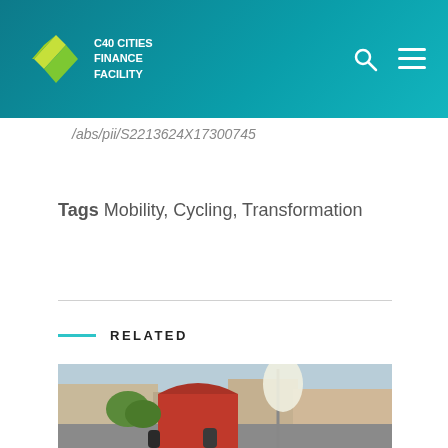C40 Cities Finance Facility
/abs/pii/S2213624X17300745
Tags Mobility, Cycling, Transformation
RELATED
[Figure (photo): Outdoor street scene with a red kiosk or booth structure, a promotional banner/flag, trees, and urban buildings in the background. People visible at the bottom.]